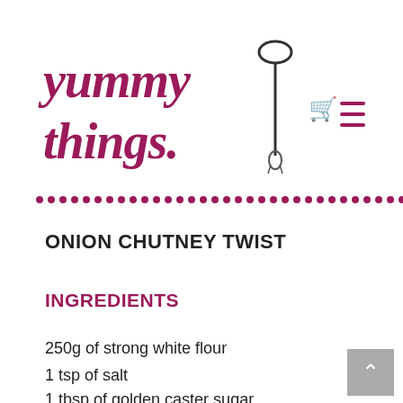[Figure (logo): Yummy Things logo with cursive magenta text and a decorative spoon illustration]
ONION CHUTNEY TWIST
INGREDIENTS
250g of strong white flour
1 tsp of salt
1 tbsp of golden caster sugar